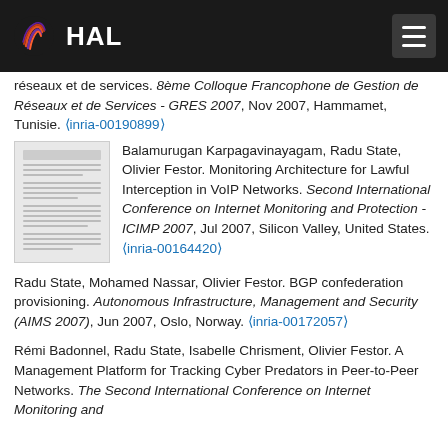HAL
réseaux et de services. 8ème Colloque Francophone de Gestion de Réseaux et de Services - GRES 2007, Nov 2007, Hammamet, Tunisie. ⟨inria-00190899⟩
[Figure (other): Thumbnail of a conference paper document]
Balamurugan Karpagavinayagam, Radu State, Olivier Festor. Monitoring Architecture for Lawful Interception in VoIP Networks. Second International Conference on Internet Monitoring and Protection - ICIMP 2007, Jul 2007, Silicon Valley, United States. ⟨inria-00164420⟩
Radu State, Mohamed Nassar, Olivier Festor. BGP confederation provisioning. Autonomous Infrastructure, Management and Security (AIMS 2007), Jun 2007, Oslo, Norway. ⟨inria-00172057⟩
Rémi Badonnel, Radu State, Isabelle Chrisment, Olivier Festor. A Management Platform for Tracking Cyber Predators in Peer-to-Peer Networks. The Second International Conference on Internet Monitoring and